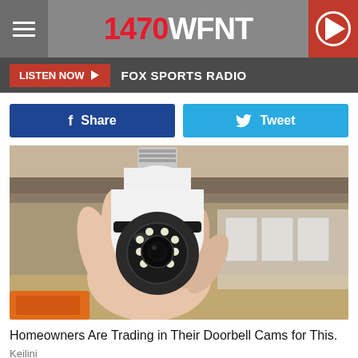1470 WFNT
LISTEN NOW ▶  FOX SPORTS RADIO
Share   Tweet
[Figure (photo): A hand holding a white light bulb security camera with LED lights surrounding the lens, with a screw-base top fitting, displayed against a wooden shelf background with cardboard boxes]
Homeowners Are Trading in Their Doorbell Cams for This.
Keilini